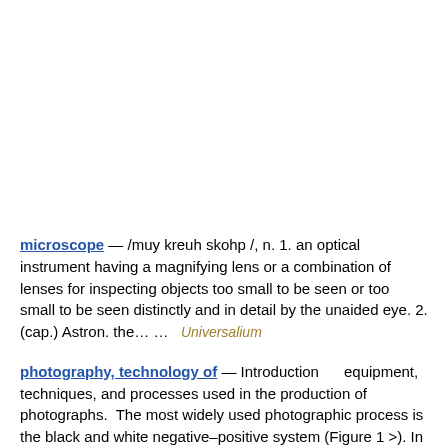microscope — /muy kreuh skohp /, n. 1. an optical instrument having a magnifying lens or a combination of lenses for inspecting objects too small to be seen or too small to be seen distinctly and in detail by the unaided eye. 2. (cap.) Astron. the… …   Universalium
photography, technology of — Introduction      equipment, techniques, and processes used in the production of photographs.  The most widely used photographic process is the black and white negative–positive system (Figure 1 >). In the camera the lens projects an image of…   Universalium